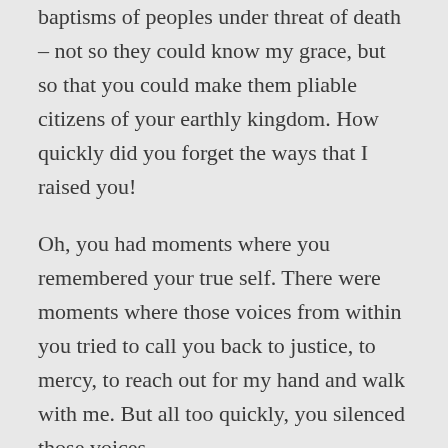baptisms of peoples under threat of death – not so they could know my grace, but so that you could make them pliable citizens of your earthly kingdom. How quickly did you forget the ways that I raised you!
Oh, you had moments where you remembered your true self. There were moments where those voices from within you tried to call you back to justice, to mercy, to reach out for my hand and walk with me. But all too quickly, you silenced those voices.
There were other times when I thought you might be finding your way back to me. When I thought your vision was clearing and you were